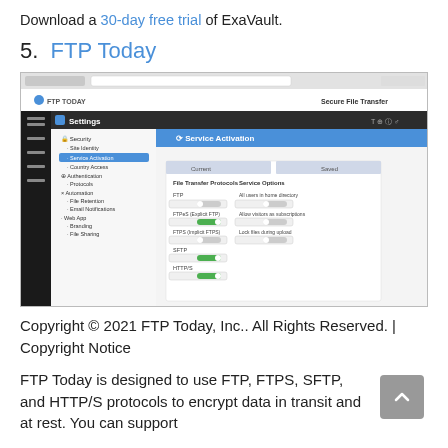Download a 30-day free trial of ExaVault.
5. FTP Today
[Figure (screenshot): Screenshot of FTP Today web interface showing Settings panel with Service Activation section, displaying File Transfer Protocols (FTP, FTPeS, FTPS, SFTP, HTTP/S) with toggle switches, and Service Options panel.]
Copyright © 2021 FTP Today, Inc.. All Rights Reserved. | Copyright Notice
FTP Today is designed to use FTP, FTPS, SFTP, and HTTP/S protocols to encrypt data in transit and at rest. You can support